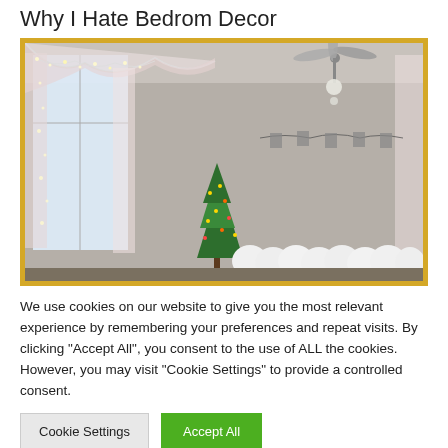Why I Hate Bedrom Decor
[Figure (photo): A bedroom decorated with fairy lights on curtains, a small Christmas tree with warm lights, a ceiling fan, white balloons along the bed, and a photo garland string on the wall. The room has a warm, festive atmosphere with soft lighting.]
We use cookies on our website to give you the most relevant experience by remembering your preferences and repeat visits. By clicking “Accept All”, you consent to the use of ALL the cookies. However, you may visit "Cookie Settings" to provide a controlled consent.